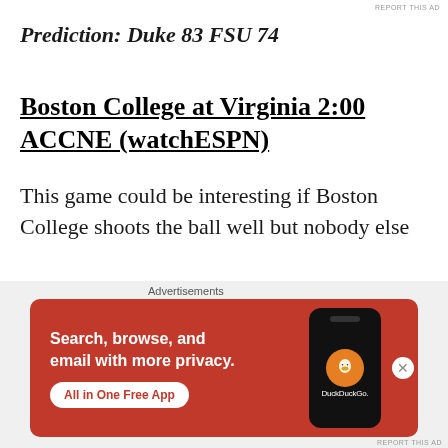REPORT THIS AD
Prediction: Duke 83 FSU 74
Boston College at Virginia 2:00 ACCNE (watchESPN)
This game could be interesting if Boston College shoots the ball well but nobody else
Advertisements
[Figure (other): DuckDuckGo advertisement banner with orange background showing phone and DuckDuckGo logo. Text: Search, browse, and email with more privacy. All in One Free App. DuckDuckGo.]
REPORT THIS AD